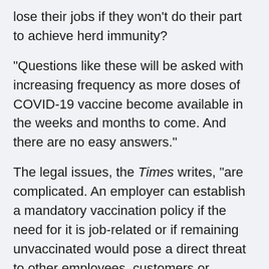lose their jobs if they won't do their part to achieve herd immunity?
"Questions like these will be asked with increasing frequency as more doses of COVID-19 vaccine become available in the weeks and months to come. And there are no easy answers."
The legal issues, the Times writes, "are complicated. An employer can establish a mandatory vaccination policy if the need for it is job-related or if remaining unvaccinated would pose a direct threat to other employees, customers or themselves, according to guidance released last month by the U.S. Equal Employment Opportunity Commission.
"For instance, a dentist could make a case that an unvaccinated hygienist would be a danger to others, or a retailer could say a cashier is at risk because of daily exposure